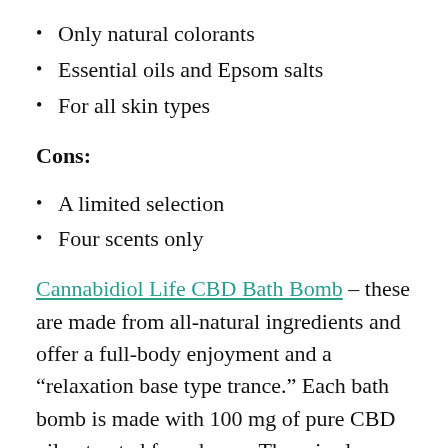Only natural colorants
Essential oils and Epsom salts
For all skin types
Cons:
A limited selection
Four scents only
Cannabidiol Life CBD Bath Bomb – these are made from all-natural ingredients and offer a full-body enjoyment and a “relaxation base type trance.” Each bath bomb is made with 100 mg of pure CBD oil extracted from hemp. There is also sodium bicarbonate (baking soda), Epsom salts, citric acid, magnesium sulfate, corn starch, coconut and